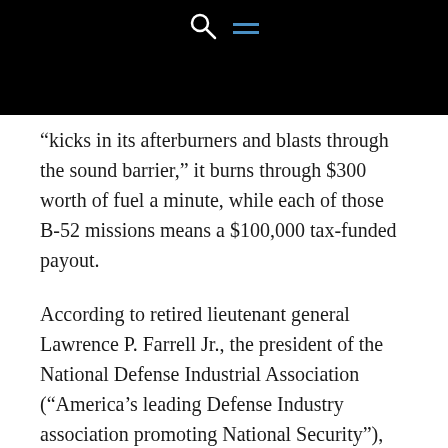“kicks in its afterburners and blasts through the sound barrier,” it burns through $300 worth of fuel a minute, while each of those B-52 missions means a $100,000 tax-funded payout.
According to retired lieutenant general Lawrence P. Farrell Jr., the president of the National Defense Industrial Association (“America’s leading Defense Industry association promoting National Security”), the Pentagon is “the single largest consumer of petroleum fuels in the United States.” In fact, it’s the world’s largest energy consumer, according to Shachtman. That